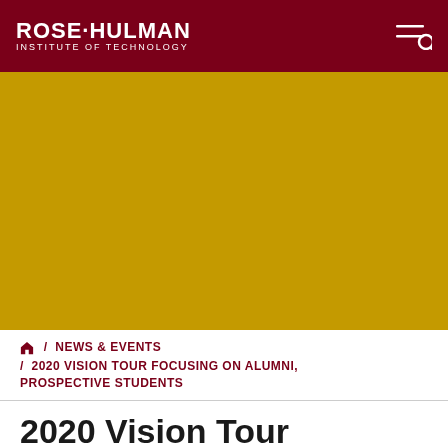ROSE-HULMAN INSTITUTE OF TECHNOLOGY
[Figure (photo): Gold/yellow colored hero image banner area for Rose-Hulman Institute of Technology news article]
/ NEWS & EVENTS / 2020 VISION TOUR FOCUSING ON ALUMNI, PROSPECTIVE STUDENTS
2020 Vision Tour Focusing on Alumni, Prospective Students